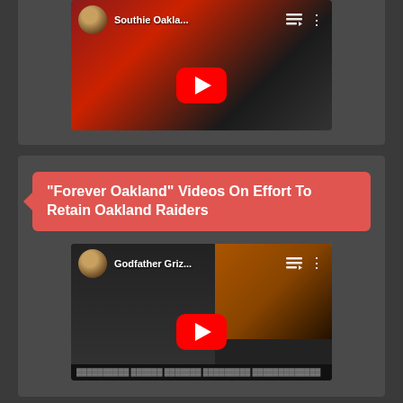[Figure (screenshot): YouTube video thumbnail showing 'Southie Oakla...' with red play button, avatar, and dark/red background]
“Forever Oakland” Videos On Effort To Retain Oakland Raiders
[Figure (screenshot): YouTube video thumbnail showing 'Godfather Griz...' with red play button, avatar, and screen capture background]